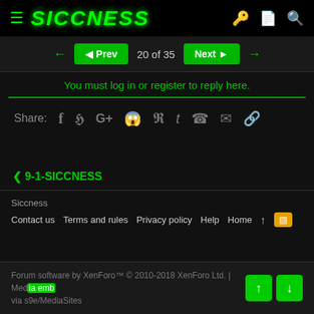SICCNESS
◄ Prev  20 of 35  Next ►
You must log in or register to reply here.
Share: f  t  G+  reddit  p  t  whatsapp  mail  link
< 9-1-SICCNESS
Siccness
Contact us  Terms and rules  Privacy policy  Help  Home  ↑  RSS
Forum software by XenForo™ © 2010-2018 XenForo Ltd. | Media embeds via s9e/MediaSites